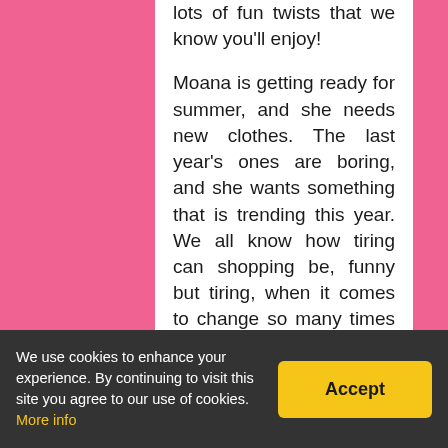lots of fun twists that we know you'll enjoy!

Moana is getting ready for summer, and she needs new clothes. The last year's ones are boring, and she wants something that is trending this year. We all know how tiring can shopping be, funny but tiring, when it comes to change so many times in the dressing room, then run to a different shop to check other items. Well, Moana has decided to shop online this time, and there are so many sales and discounts. Help her check out different dresses, tops, shorts and skirts and select the ones you think that suits her the best.
We use cookies to enhance your experience. By continuing to visit this site you agree to our use of cookies. More info